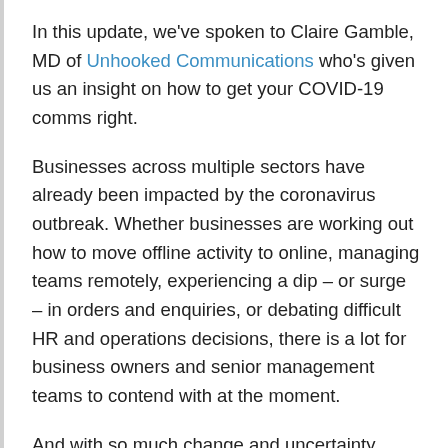In this update, we've spoken to Claire Gamble, MD of Unhooked Communications who's given us an insight on how to get your COVID-19 comms right.
Businesses across multiple sectors have already been impacted by the coronavirus outbreak. Whether businesses are working out how to move offline activity to online, managing teams remotely, experiencing a dip – or surge – in orders and enquiries, or debating difficult HR and operations decisions, there is a lot for business owners and senior management teams to contend with at the moment.
And with so much change and uncertainty, many businesses will also have to work out how best to keep their customers, employees, suppliers, partners and other stakeholders up to date, engaged and reassured. But when it comes to communications and marketing during